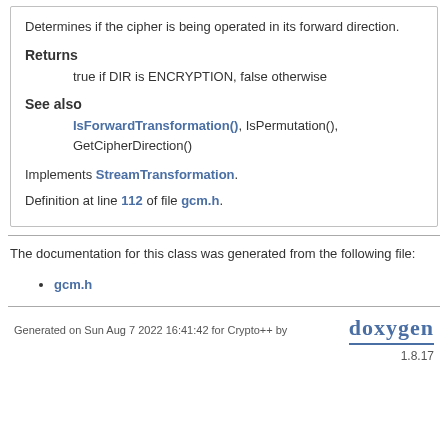Determines if the cipher is being operated in its forward direction.
Returns
true if DIR is ENCRYPTION, false otherwise
See also
IsForwardTransformation(), IsPermutation(), GetCipherDirection()
Implements StreamTransformation.
Definition at line 112 of file gcm.h.
The documentation for this class was generated from the following file:
gcm.h
Generated on Sun Aug 7 2022 16:41:42 for Crypto++ by doxygen 1.8.17